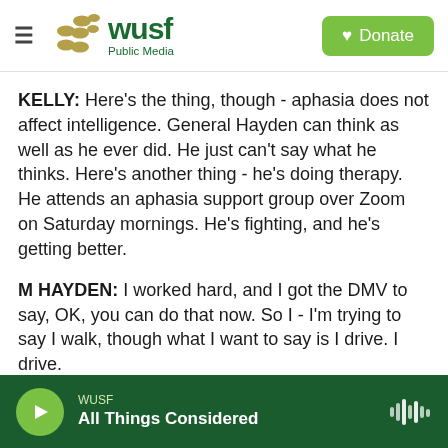WUSF Public Media
KELLY: Here's the thing, though - aphasia does not affect intelligence. General Hayden can think as well as he ever did. He just can't say what he thinks. Here's another thing - he's doing therapy. He attends an aphasia support group over Zoom on Saturday mornings. He's fighting, and he's getting better.
M HAYDEN: I worked hard, and I got the DMV to say, OK, you can do that now. So I - I'm trying to say I walk, though what I want to say is I drive. I drive.
KELLY: You drive, yeah.
WUSF All Things Considered